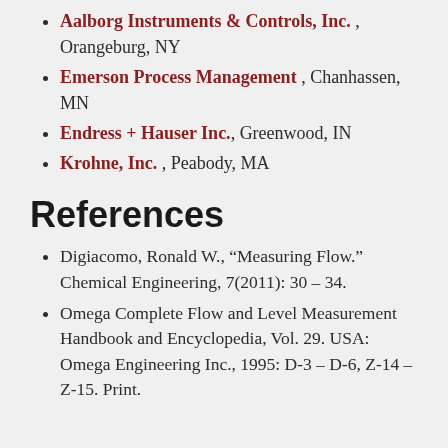Aalborg Instruments & Controls, Inc. , Orangeburg, NY
Emerson Process Management , Chanhassen, MN
Endress + Hauser Inc., Greenwood, IN
Krohne, Inc. , Peabody, MA
References
Digiacomo, Ronald W., “Measuring Flow.” Chemical Engineering, 7(2011): 30 – 34.
Omega Complete Flow and Level Measurement Handbook and Encyclopedia, Vol. 29. USA: Omega Engineering Inc., 1995: D-3 – D-6, Z-14 – Z-15. Print.